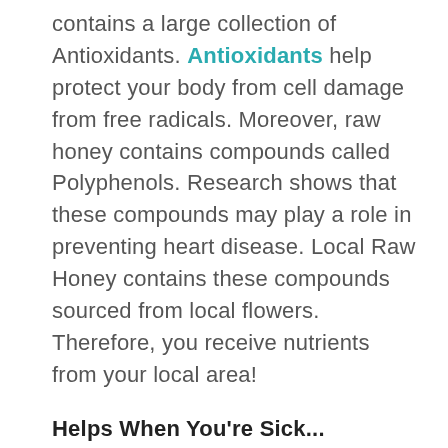contains a large collection of Antioxidants. Antioxidants help protect your body from cell damage from free radicals. Moreover, raw honey contains compounds called Polyphenols. Research shows that these compounds may play a role in preventing heart disease. Local Raw Honey contains these compounds sourced from local flowers. Therefore, you receive nutrients from your local area!
Helps When You're Sick...